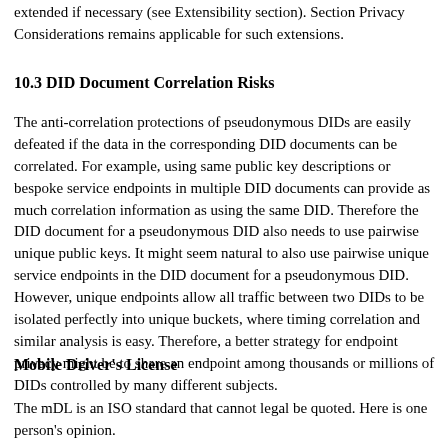extended if necessary (see Extensibility section). Section Privacy Considerations remains applicable for such extensions.
10.3 DID Document Correlation Risks
The anti-correlation protections of pseudonymous DIDs are easily defeated if the data in the corresponding DID documents can be correlated. For example, using same public key descriptions or bespoke service endpoints in multiple DID documents can provide as much correlation information as using the same DID. Therefore the DID document for a pseudonymous DID also needs to use pairwise unique public keys. It might seem natural to also use pairwise unique service endpoints in the DID document for a pseudonymous DID. However, unique endpoints allow all traffic between two DIDs to be isolated perfectly into unique buckets, where timing correlation and similar analysis is easy. Therefore, a better strategy for endpoint privacy might be to share an endpoint among thousands or millions of DIDs controlled by many different subjects.
Mobile Driver's License
The mDL is an ISO standard that cannot legal be quoted. Here is one person's opinion.